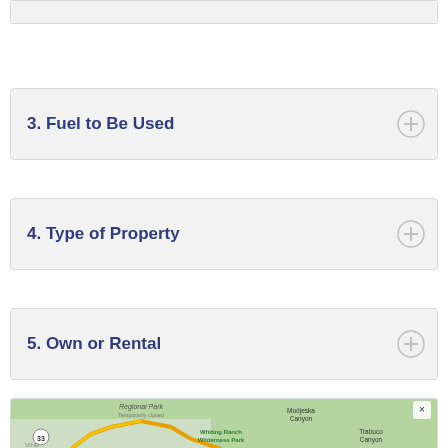3. Fuel to Be Used
4. Type of Property
5. Own or Rental
[Figure (map): Google Maps view showing Regional Park (Temporarily closed), Modjeska Canyon, Whiting Ranch Wilderness Park, Trabuco Canyon area with road 33 visible, green terrain]